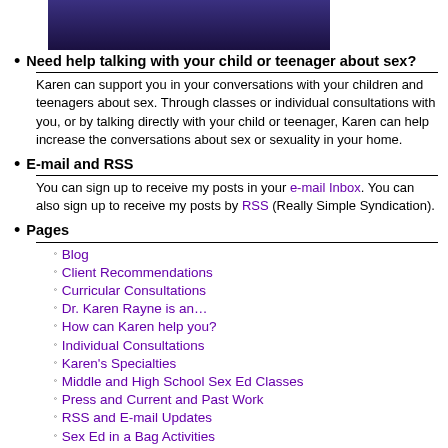[Figure (photo): Partial photo of a person wearing a dark top, cropped at top of page]
Need help talking with your child or teenager about sex?
Karen can support you in your conversations with your children and teenagers about sex. Through classes or individual consultations with you, or by talking directly with your child or teenager, Karen can help increase the conversations about sex or sexuality in your home.
E-mail and RSS
You can sign up to receive my posts in your e-mail Inbox. You can also sign up to receive my posts by RSS (Really Simple Syndication).
Pages
Blog
Client Recommendations
Curricular Consultations
Dr. Karen Rayne is an…
How can Karen help you?
Individual Consultations
Karen's Specialties
Middle and High School Sex Ed Classes
Press and Current and Past Work
RSS and E-mail Updates
Sex Ed in a Bag Activities
TALKS About Sex…